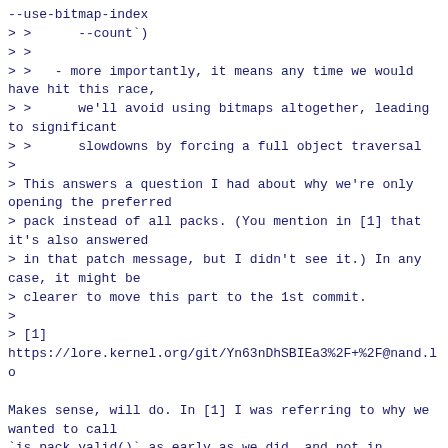--use-bitmap-index
> >      --count`)
> >
> >   - more importantly, it means any time we would have hit this race,
> >      we'll avoid using bitmaps altogether, leading to significant
> >      slowdowns by forcing a full object traversal
>
> This answers a question I had about why we're only opening the preferred
> pack instead of all packs. (You mention in [1] that it's also answered
> in that patch message, but I didn't see it.) In any case, it might be
> clearer to move this part to the 1st commit.
>
> [1]
https://lore.kernel.org/git/Yn63nDhSBIEa3%2F+%2F@nand.lo

Makes sense, will do. In [1] I was referring to why we wanted to call
`is_pack_valid()` as early as we did, and not in
`reuse_partial_packfile_from_bitmap()`.

But the quoted part here is useful context for the first patch, too, so
I moved it up.

> > Work around this by calling `is_pack_valid()` from